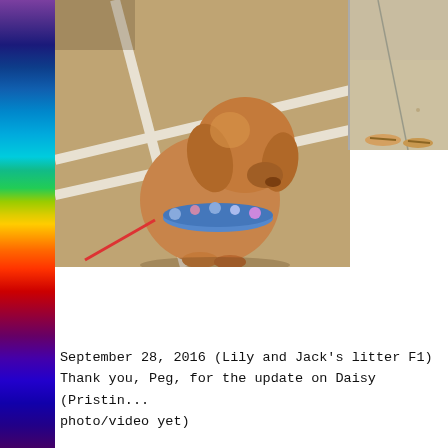[Figure (photo): A golden/apricot puppy with a blue floral collar sitting on a concrete surface with white painted parking lot lines visible in the background. The puppy is viewed from behind/side.]
[Figure (photo): Partial photo on the right side showing what appears to be feet/sandals on a concrete surface.]
September 28, 2016 (Lily and Jack's litter F1) Thank you, Peg, for the update on Daisy (Pristin... photo/video yet)